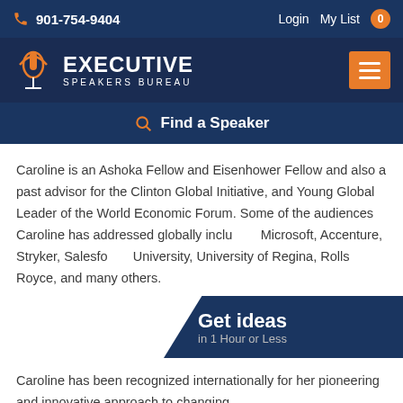901-754-9404   Login   My List 0
[Figure (logo): Executive Speakers Bureau logo with microphone icon and orange arc]
Find a Speaker
Caroline is an Ashoka Fellow and Eisenhower Fellow and also a past advisor for the Clinton Global Initiative, and Young Global Leader of the World Economic Forum. Some of the audiences Caroline has addressed globally include Microsoft, Accenture, Stryker, Salesforce, University, University of Regina, Rolls Royce, and many others.
Get ideas in 1 Hour or Less
Caroline has been recognized internationally for her pioneering and innovative approach to changing…